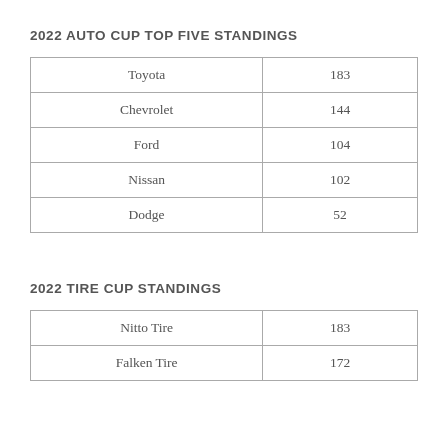2022 AUTO CUP TOP FIVE STANDINGS
| Toyota | 183 |
| Chevrolet | 144 |
| Ford | 104 |
| Nissan | 102 |
| Dodge | 52 |
2022 TIRE CUP STANDINGS
| Nitto Tire | 183 |
| Falken Tire | 172 |